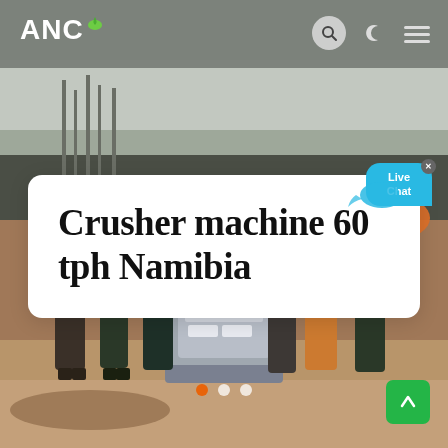[Figure (photo): Screenshot of a website (ANC) showing a construction site photo with workers standing around a crusher machine in Namibia. The page has a navigation bar at the top with the ANC logo, search icon, moon icon, and hamburger menu. A white card overlay shows the article title. A live chat bubble appears in the upper right of the card. Slide navigation dots appear at the bottom center, and a green scroll-to-top button is in the bottom right.]
ANC
Crusher machine 60 tph Namibia